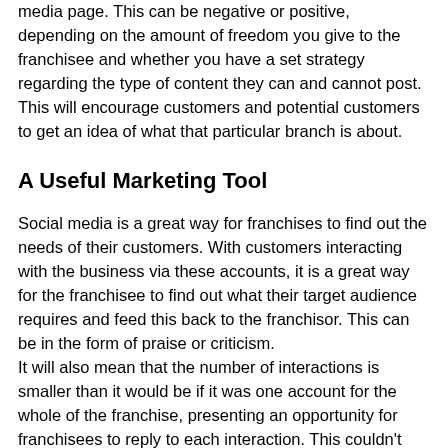media page. This can be negative or positive, depending on the amount of freedom you give to the franchisee and whether you have a set strategy regarding the type of content they can and cannot post. This will encourage customers and potential customers to get an idea of what that particular branch is about.
A Useful Marketing Tool
Social media is a great way for franchises to find out the needs of their customers. With customers interacting with the business via these accounts, it is a great way for the franchisee to find out what their target audience requires and feed this back to the franchisor. This can be in the form of praise or criticism.
It will also mean that the number of interactions is smaller than it would be if it was one account for the whole of the franchise, presenting an opportunity for franchisees to reply to each interaction. This couldn't otherwise be achieved due to